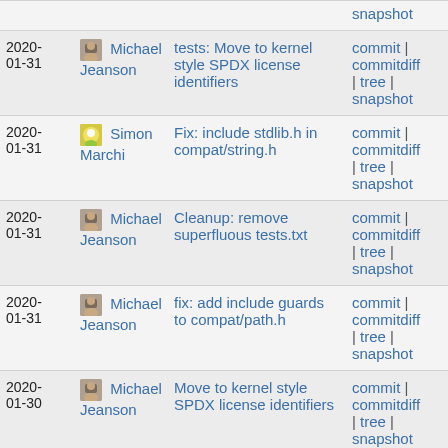| Date | Author | Message | Links |
| --- | --- | --- | --- |
|  |  |  | snapshot |
| 2020-
01-31 | Michael Jeanson | tests: Move to kernel style SPDX license identifiers | commit | commitdiff | tree | snapshot |
| 2020-
01-31 | Simon Marchi | Fix: include stdlib.h in compat/string.h | commit | commitdiff | tree | snapshot |
| 2020-
01-31 | Michael Jeanson | Cleanup: remove superfluous tests.txt | commit | commitdiff | tree | snapshot |
| 2020-
01-31 | Michael Jeanson | fix: add include guards to compat/path.h | commit | commitdiff | tree | snapshot |
| 2020-
01-30 | Michael Jeanson | Move to kernel style SPDX license identifiers | commit | commitdiff | tree | snapshot |